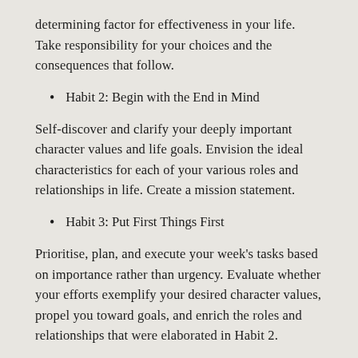determining factor for effectiveness in your life. Take responsibility for your choices and the consequences that follow.
Habit 2: Begin with the End in Mind
Self-discover and clarify your deeply important character values and life goals. Envision the ideal characteristics for each of your various roles and relationships in life. Create a mission statement.
Habit 3: Put First Things First
Prioritise, plan, and execute your week's tasks based on importance rather than urgency. Evaluate whether your efforts exemplify your desired character values, propel you toward goals, and enrich the roles and relationships that were elaborated in Habit 2.